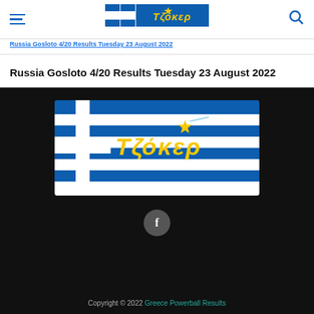Navigation header with hamburger menu, Tzoker logo, and search icon
Russia Gosloto 4/20 Results Tuesday 23 August 2022 (breadcrumb/truncated)
Russia Gosloto 4/20 Results Tuesday 23 August 2022
[Figure (logo): Tzoker Greece lottery logo with Greek flag background]
[Figure (other): Facebook circular button icon]
Copyright © 2022 Greece Powerball Results